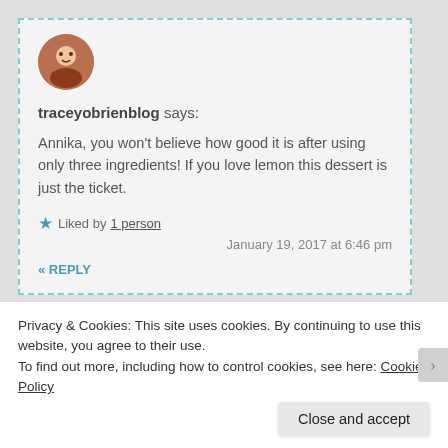[Figure (photo): Circular avatar photo of a person, brownish warm tones]
traceyobrienblog says:
Annika, you won't believe how good it is after using only three ingredients! If you love lemon this dessert is just the ticket.
★ Liked by 1 person
January 19, 2017 at 6:46 pm
« REPLY
[Figure (illustration): Circular avatar with leaf/plant motif outline, light green tones]
Privacy & Cookies: This site uses cookies. By continuing to use this website, you agree to their use.
To find out more, including how to control cookies, see here: Cookie Policy
Close and accept